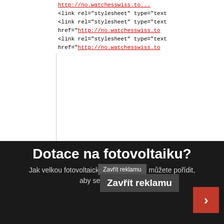<link rel="stylesheet" type="text ... href="http://no.watchesswiss.to...
<link rel="stylesheet" type="text... href="http://no.watchesswiss.to...
<link rel="stylesheet" type="text... href="http://no.watchesswiss.to...
<style>
#sddm
{ margin: 0 auto;
padding: 0;
z-index: 30;
background...
width...
Zavřít reklamu
Reklama
Dotace na fotovoltaiku?
Jak velkou fotovoltaickou elektrárnu si můžete pořídit, aby se vám vyplatila.